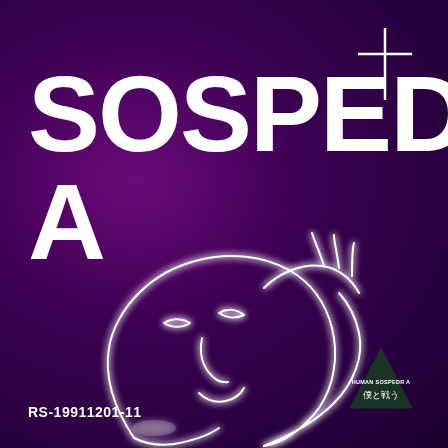[Figure (illustration): White cross/plus symbol in upper right corner on purple background]
SOSPEDR A
[Figure (illustration): Neon-style white line art illustration of a person's face tilted back, glowing on purple background]
RS-19911201-11
[Figure (logo): Dark triangle badge/logo with Japanese text reading 僕と戦う and small latin text above it reading HUMAN SOSPEDR A]